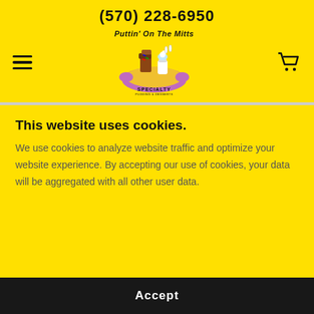(570) 228-6950
[Figure (logo): Puttin' On The Mitts Specialty Puddings & Desserts logo: cartoon characters on a yellow plate with purple handles, text SPECIALTY PUDDING & DESSERTS below]
This website uses cookies.
We use cookies to analyze website traffic and optimize your website experience. By accepting our use of cookies, your data will be aggregated with all other user data.
Accept